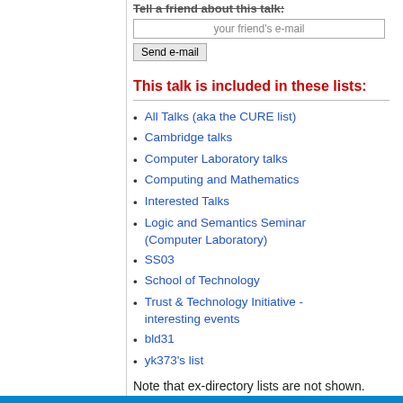Tell a friend about this talk:
your friend's e-mail
Send e-mail
This talk is included in these lists:
All Talks (aka the CURE list)
Cambridge talks
Computer Laboratory talks
Computing and Mathematics
Interested Talks
Logic and Semantics Seminar (Computer Laboratory)
SS03
School of Technology
Trust & Technology Initiative - interesting events
bld31
yk373's list
Note that ex-directory lists are not shown.